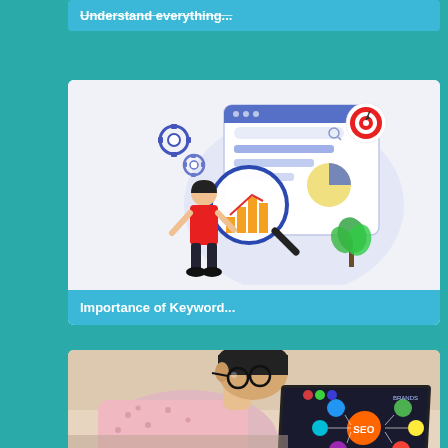Understand everything...
[Figure (illustration): Digital marketing illustration showing a person in red shirt examining analytics charts through a magnifying glass, with a web browser mockup containing bar charts and a pie chart, target icon, gears, and a plant]
Importance of Keyword...
[Figure (photo): Person with glasses looking at a laptop screen displaying SEO mind map with colorful nodes and 'SEO' text in the center]